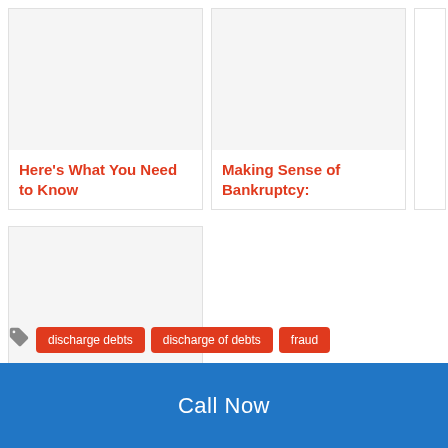Here’s What You Need to Know
Making Sense of Bankruptcy:
The Chapter 13 “Super-Discharge”
discharge debts
discharge of debts
fraud
Call Now